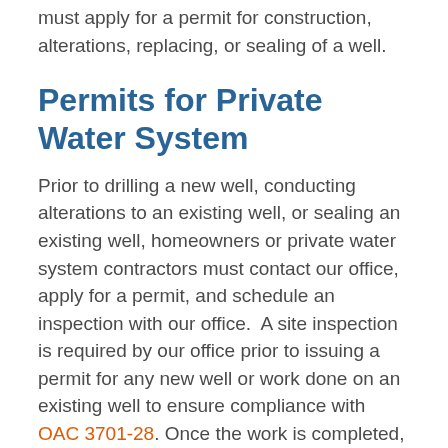must apply for a permit for construction, alterations, replacing, or sealing of a well.
Permits for Private Water System
Prior to drilling a new well, conducting alterations to an existing well, or sealing an existing well, homeowners or private water system contractors must contact our office, apply for a permit, and schedule an inspection with our office.  A site inspection is required by our office prior to issuing a permit for any new well or work done on an existing well to ensure compliance with OAC 3701-28. Once the work is completed, our office will review all